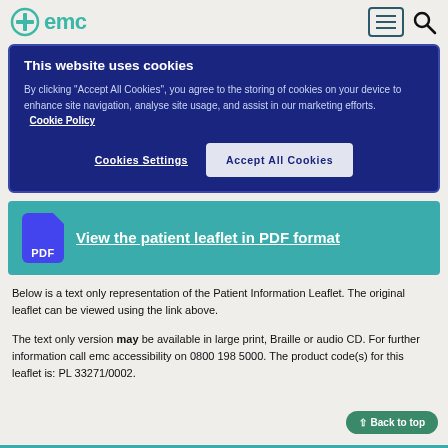emc
This website uses cookies

By clicking "Accept All Cookies", you agree to the storing of cookies on your device to enhance site navigation, analyse site usage, and assist in our marketing efforts. Cookie Policy

Cookies Settings    Accept All Cookies
[Figure (screenshot): PDF icon with link: View the patient leaflet in PDF format]
Below is a text only representation of the Patient Information Leaflet. The original leaflet can be viewed using the link above.
The text only version may be available in large print, Braille or audio CD. For further information call emc accessibility on 0800 198 5000. The product code(s) for this leaflet is: PL 33271/0002.